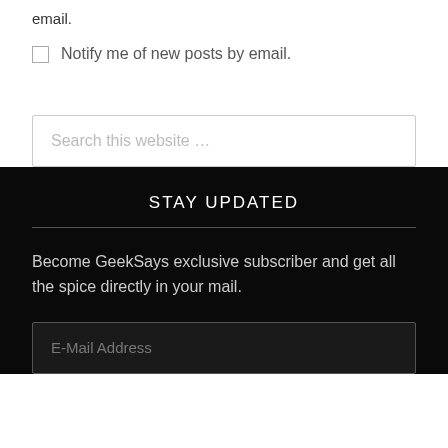email.
Notify me of new posts by email.
Search this website ...
STAY UPDATED
Become GeekSays exclusive subscriber and get all the spice directly in your mail.
E-Mail Address